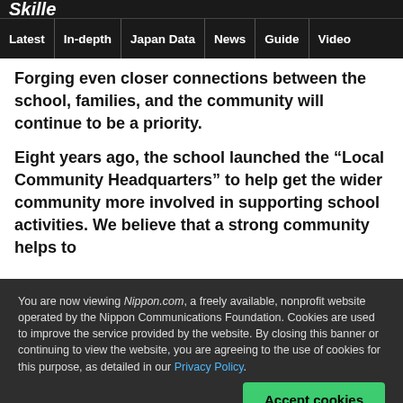Skille
Latest | In-depth | Japan Data | News | Guide | Video
Forging even closer connections between the school, families, and the community will continue to be a priority.
Eight years ago, the school launched the “Local Community Headquarters” to help get the wider community more involved in supporting school activities. We believe that a strong community helps to
You are now viewing Nippon.com, a freely available, nonprofit website operated by the Nippon Communications Foundation. Cookies are used to improve the service provided by the website. By closing this banner or continuing to view the website, you are agreeing to the use of cookies for this purpose, as detailed in our Privacy Policy.
Accept cookies